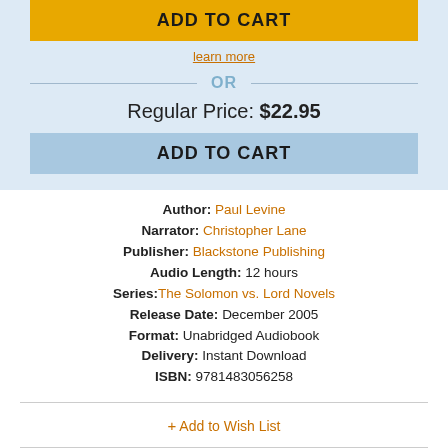ADD TO CART (gold button)
learn more
OR
Regular Price: $22.95
ADD TO CART (blue button)
Author: Paul Levine
Narrator: Christopher Lane
Publisher: Blackstone Publishing
Audio Length: 12 hours
Series: The Solomon vs. Lord Novels
Release Date: December 2005
Format: Unabridged Audiobook
Delivery: Instant Download
ISBN: 9781483056258
+ Add to Wish List
Share: